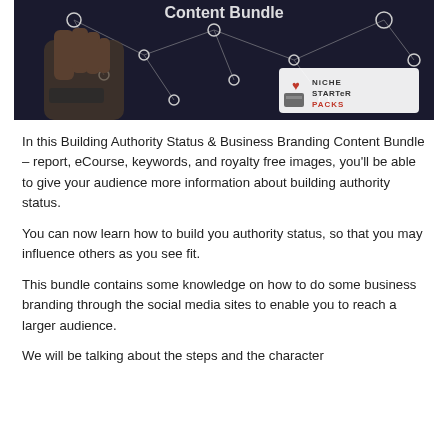[Figure (illustration): Hero banner image showing a hand pointing at a network diagram with connected nodes, overlaid with text 'Content Bundle' and a 'Niche Starter Packs' logo watermark in the lower right.]
In this Building Authority Status & Business Branding Content Bundle – report, eCourse, keywords, and royalty free images, you'll be able to give your audience more information about building authority status.
You can now learn how to build you authority status, so that you may influence others as you see fit.
This bundle contains some knowledge on how to do some business branding through the social media sites to enable you to reach a larger audience.
We will be talking about the steps and the character